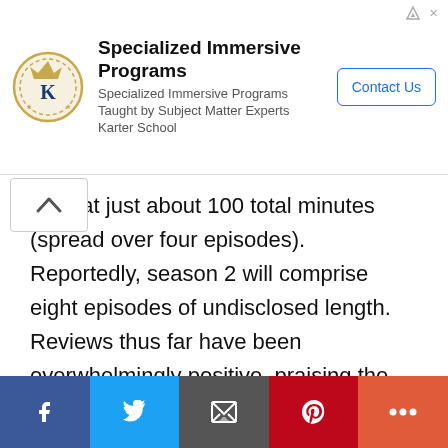[Figure (other): Advertisement banner for Specialized Immersive Programs by Karter School with logo, text, and Contact Us button]
ks in at just about 100 total minutes (spread over four episodes). Reportedly, season 2 will comprise eight episodes of undisclosed length. Reviews thus far have been overwhelmingly positive, praising the show’s brutality and its commitment to exploring themes of morality. Some fans believe that the first season was originally intended as a feature-length film, based on its short runtime — it is possible Netflix decided to chop it up into episodes upon realizing how lucrative a TV series would be. Showrunner Adi
[Figure (other): Social media share bar with Facebook, Twitter, Email, Pinterest, and More buttons]